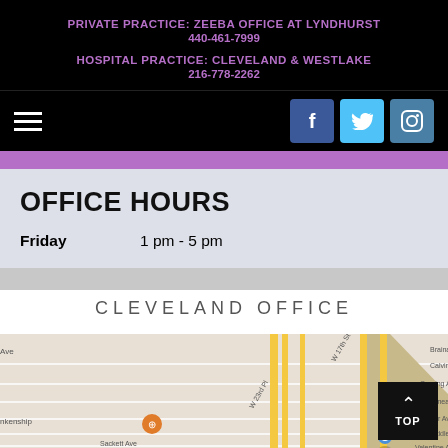PRIVATE PRACTICE: ZEEBA OFFICE AT LYNDHURST
440-461-7999
HOSPITAL PRACTICE: CLEVELAND & WESTLAKE
216-778-2262
OFFICE HOURS
Friday    1 pm - 5 pm
CLEVELAND OFFICE
[Figure (map): Map showing Cleveland office location with street names including Brainard Ave, Calvin Ct, Corning Ave, Juneau Ct, Clover Ave, Biddle Ct, Valentine Ave, Sackett Ave, W 23rd Pl, W 17th St, Burlington store marker, and location pins.]